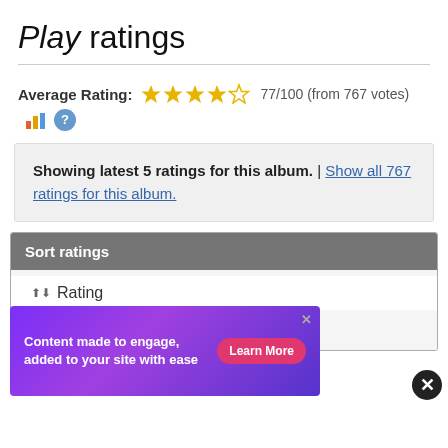Play ratings
Average Rating: 77/100 (from 767 votes)
Showing latest 5 ratings for this album. | Show all 767 ratings for this album.
Sort ratings
Rating
Date updated
[Figure (other): Advertisement banner: Content made to engage, added to your site with ease. Learn More button.]